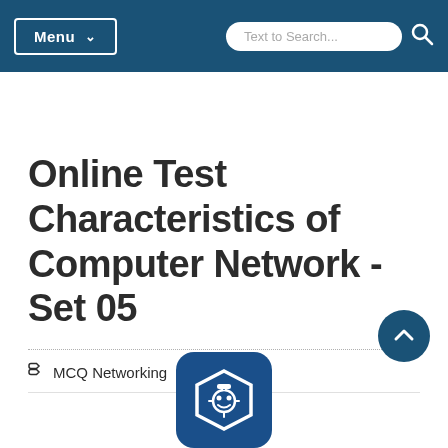Menu | Text to Search...
Online Test Characteristics of Computer Network - Set 05
MCQ Networking
[Figure (logo): App icon with shield and robot/bot symbol in dark blue]